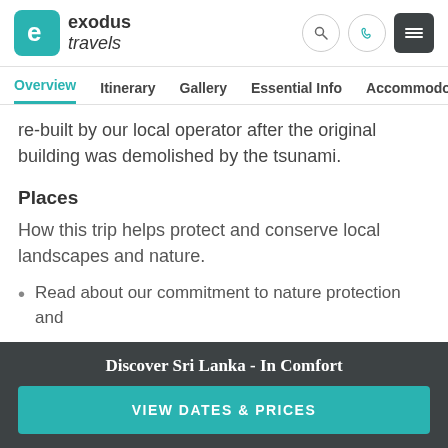exodus travels
re-built by our local operator after the original building was demolished by the tsunami.
Places
How this trip helps protect and conserve local landscapes and nature.
Read about our commitment to nature protection and
Discover Sri Lanka - In Comfort
VIEW DATES & PRICES